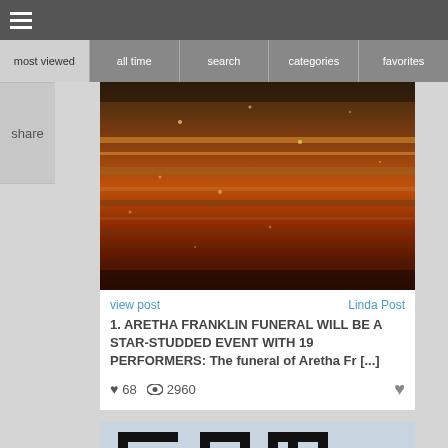☰
most viewed
all time
search
categories
favorites
share
[Figure (photo): Close-up photo of reddish-brown layered rock or stone texture with sparkly particles]
view post
Linda Post
1. ARETHA FRANKLIN FUNERAL WILL BE A STAR-STUDDED EVENT WITH 19 PERFORMERS: The funeral of Aretha Fr [...]
♥ 68   👁 2960
[Figure (photo): Partial image showing pixelated/8-bit style letters GAM with a gaming controller visible]